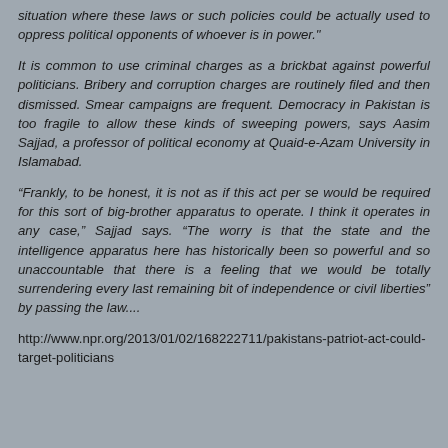situation where these laws or such policies could be actually used to oppress political opponents of whoever is in power."
It is common to use criminal charges as a brickbat against powerful politicians. Bribery and corruption charges are routinely filed and then dismissed. Smear campaigns are frequent. Democracy in Pakistan is too fragile to allow these kinds of sweeping powers, says Aasim Sajjad, a professor of political economy at Quaid-e-Azam University in Islamabad.
“Frankly, to be honest, it is not as if this act per se would be required for this sort of big-brother apparatus to operate. I think it operates in any case," Sajjad says. "The worry is that the state and the intelligence apparatus here has historically been so powerful and so unaccountable that there is a feeling that we would be totally surrendering every last remaining bit of independence or civil liberties" by passing the law....
http://www.npr.org/2013/01/02/168222711/pakistans-patriot-act-could-target-politicians